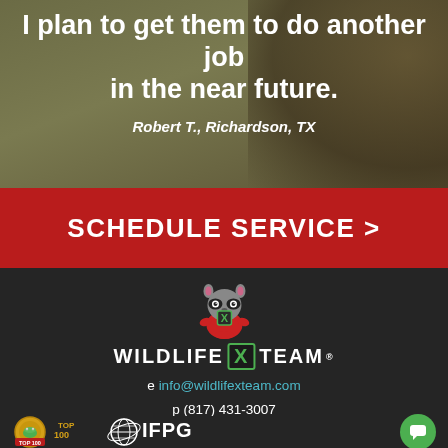I plan to get them to do another job in the near future.
Robert T., Richardson, TX
SCHEDULE SERVICE >
[Figure (logo): Wildlife X Team logo with raccoon mascot and green X badge]
e info@wildlifexteam.com
p (817) 431-3007
[Figure (logo): Franchise Gator 2018 Top Emerging Top 100 badge with gator mascot]
[Figure (logo): IFPG International Franchise Professionals Group logo]
[Figure (other): Green circular chat button icon]